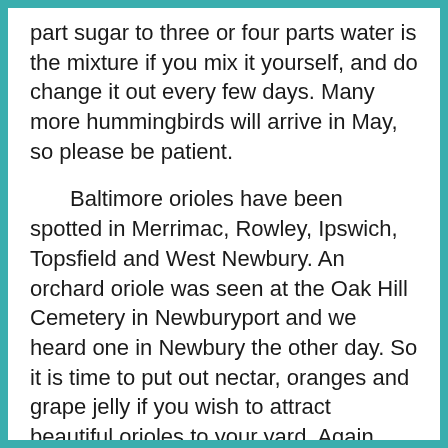part sugar to three or four parts water is the mixture if you mix it yourself, and do change it out every few days. Many more hummingbirds will arrive in May, so please be patient.
Baltimore orioles have been spotted in Merrimac, Rowley, Ipswich, Topsfield and West Newbury. An orchard oriole was seen at the Oak Hill Cemetery in Newburyport and we heard one in Newbury the other day. So it is time to put out nectar, oranges and grape jelly if you wish to attract beautiful orioles to your yard. Again, many more orioles will be arriving in May, so patience may be needed for them as well.
Rose-breasted grosbeaks have visited feeders in Merrimac and West Newbury already and others have been reported from Ipswich and Plum Island. We have our tray feeders filled with sunflower, now enjoyed by cardinals, blue jays...